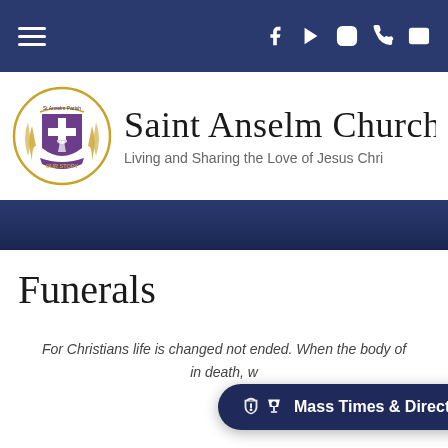Navigation bar with hamburger menu and social icons (Facebook, YouTube, Instagram, Phone, Email)
Saint Anselm Church
Living and Sharing the Love of Jesus Chris...
Funerals
For Christians life is changed not ended. When the body of ... in death, w... ...lace
Mass Times & Directions